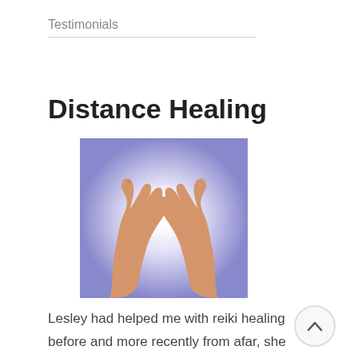Testimonials
Distance Healing
[Figure (photo): Two hands raised upward cupping a bright white glowing light against a purple/blue background.]
Lesley had helped me with reiki healing before and more recently from afar, she also comforted me with healing thoughts when I was concerned about a friend who was